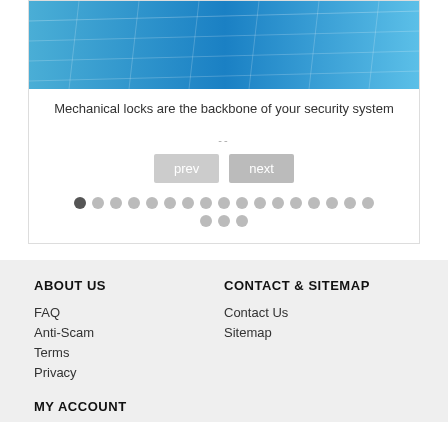[Figure (screenshot): Blue grid/mesh background image at top of slideshow widget]
Mechanical locks are the backbone of your security system
--
[Figure (screenshot): Navigation buttons: prev and next, and pagination dots (20 dots total, first active)]
ABOUT US
CONTACT & SITEMAP
FAQ
Contact Us
Anti-Scam
Sitemap
Terms
Privacy
MY ACCOUNT